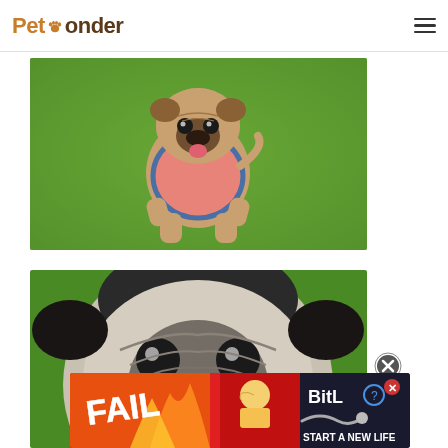PetPonder
[Figure (photo): Fawn pug dog running on green grass wearing a pink and blue decorative harness, tongue out, facing camera]
[Figure (photo): Close-up of a grey/white pug dog face with wrinkles looking upward, green grass background, with an advertisement banner overlay for BitLife game showing FAIL text and start a new life]
[Figure (advertisement): BitLife game advertisement banner with FAIL text, cartoon character, flames, and START A NEW LIFE text on dark background]